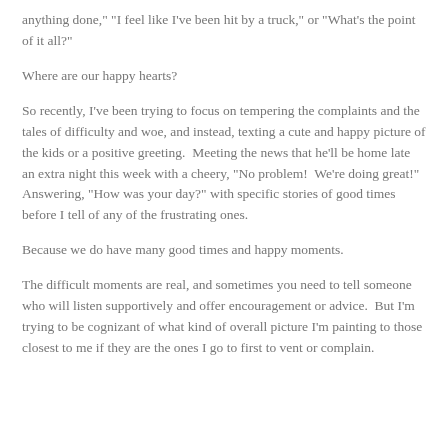anything done," "I feel like I've been hit by a truck," or "What's the point of it all?"
Where are our happy hearts?
So recently, I've been trying to focus on tempering the complaints and the tales of difficulty and woe, and instead, texting a cute and happy picture of the kids or a positive greeting.  Meeting the news that he'll be home late an extra night this week with a cheery, "No problem!  We're doing great!"  Answering, "How was your day?" with specific stories of good times before I tell of any of the frustrating ones.
Because we do have many good times and happy moments.
The difficult moments are real, and sometimes you need to tell someone who will listen supportively and offer encouragement or advice.  But I'm trying to be cognizant of what kind of overall picture I'm painting to those closest to me if they are the ones I go to first to vent or complain.